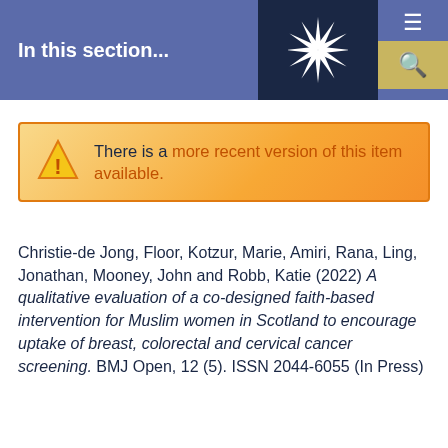In this section...
There is a more recent version of this item available.
Christie-de Jong, Floor, Kotzur, Marie, Amiri, Rana, Ling, Jonathan, Mooney, John and Robb, Katie (2022) A qualitative evaluation of a co-designed faith-based intervention for Muslim women in Scotland to encourage uptake of breast, colorectal and cervical cancer screening. BMJ Open, 12 (5). ISSN 2044-6055 (In Press)